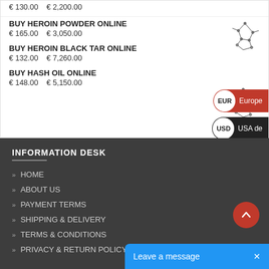€ 130.00   € 2,200.00
BUY HEROIN POWDER ONLINE
€ 165.00   € 3,050.00
BUY HEROIN BLACK TAR ONLINE
€ 132.00   € 7,260.00
BUY HASH OIL ONLINE
€ 148.00   € 5,150.00
[Figure (illustration): Molecular structure diagram for heroin powder]
[Figure (illustration): Molecular structure diagram for heroin black tar]
[Figure (other): EUR Europe currency selector badge (orange/red pill button)]
[Figure (other): USD USA delivery currency selector badge (black pill button)]
INFORMATION DESK
HOME
ABOUT US
PAYMENT TERMS
SHIPPING & DELIVERY
TERMS & CONDITIONS
PRIVACY & RETURN POLICY
Leave a message